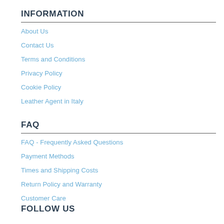INFORMATION
About Us
Contact Us
Terms and Conditions
Privacy Policy
Cookie Policy
Leather Agent in Italy
FAQ
FAQ - Frequently Asked Questions
Payment Methods
Times and Shipping Costs
Return Policy and Warranty
Customer Care
FOLLOW US